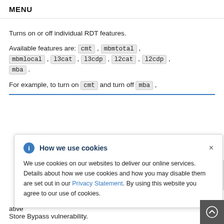MENU
Turns on or off individual RDT features.
Available features are: cmt , mbmtotal , mbmlocal , l3cat , l3cdp , l2cat , l2cdp , mba .
For example, to turn on cmt and turn off mba ,
[Figure (screenshot): Cookie consent popup with title 'How we use cookies', info icon, close button, and text about cookie usage including a Privacy Statement link]
ative Store Bypass vulnerability.